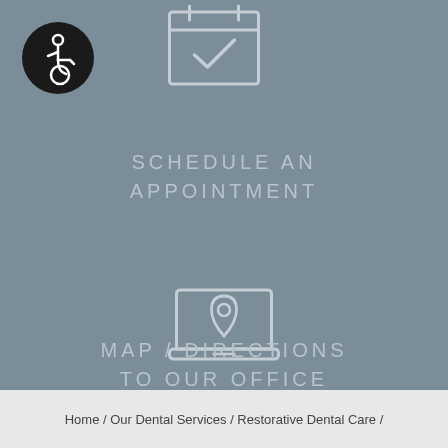[Figure (illustration): Black circular accessibility icon with wheelchair symbol in white, top-left corner]
[Figure (illustration): Calendar icon with checkmark, outline style in white/light gray, top-center area]
SCHEDULE AN APPOINTMENT
[Figure (illustration): Laptop with map pin/location icon, outline style in white/light gray, center of page]
MAP / DIRECTIONS TO OUR OFFICE
Home / Our Dental Services / Restorative Dental Care /